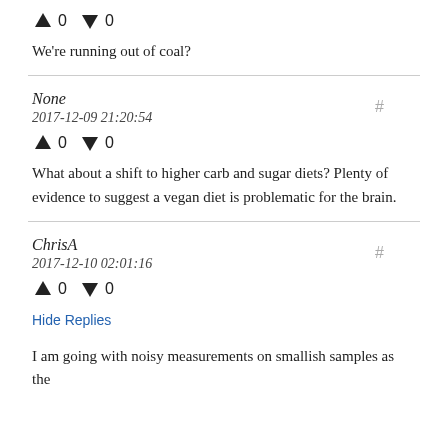↑ 0 ↓ 0
We're running out of coal?
None
2017-12-09 21:20:54
↑ 0 ↓ 0
What about a shift to higher carb and sugar diets? Plenty of evidence to suggest a vegan diet is problematic for the brain.
ChrisA
2017-12-10 02:01:16
↑ 0 ↓ 0
Hide Replies
I am going with noisy measurements on smallish samples as the